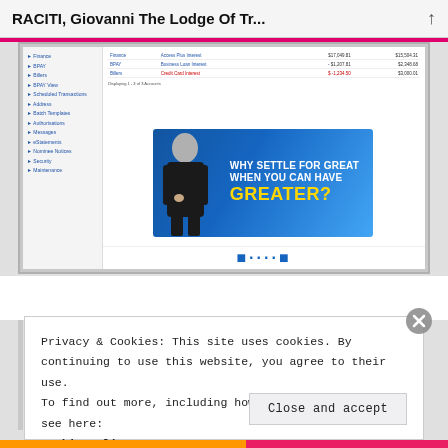RACITI, Giovanni The Lodge Of Tr...
[Figure (screenshot): Screenshot of a banking/financial web application interface showing a navigation panel on the left with menu items, a table with financial data on the right, and a blue advertising banner with the text 'WHY SETTLE FOR GREAT WHEN YOU CAN HAVE GREATER?' featuring a person in a suit.]
Privacy & Cookies: This site uses cookies. By continuing to use this website, you agree to their use.
To find out more, including how to control cookies, see here:
Cookie Policy
Close and accept